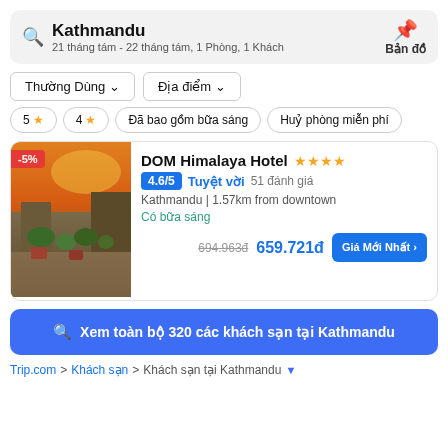Kathmandu
21 tháng tám - 22 tháng tám, 1 Phòng, 1 Khách
Bản đồ
Thường Dùng
Địa điểm
5 ★
4 ★
Đã bao gồm bữa sáng
Huỷ phòng miễn phí
DOM Himalaya Hotel ★★★★
4.6/5 Tuyệt vời 51 đánh giá
Kathmandu | 1.57km from downtown
Có bữa sáng
694.963đ 659.721đ
Xem toàn bộ 320 các khách sạn tại Kathmandu
Trip.com > Khách sạn > Khách sạn tại Kathmandu